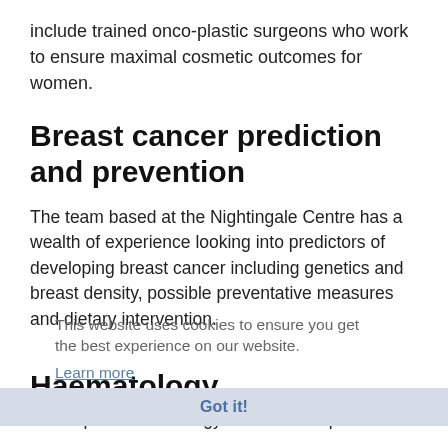include trained onco-plastic surgeons who work to ensure maximal cosmetic outcomes for women.
Breast cancer prediction and prevention
The team based at the Nightingale Centre has a wealth of experience looking into predictors of developing breast cancer including genetics and breast density, possible preventative measures and dietary intervention.
This website uses cookies to ensure you get the best experience on our website.
Learn more
Haematology
The expert Haematology team made up of Consultant and specialist St…